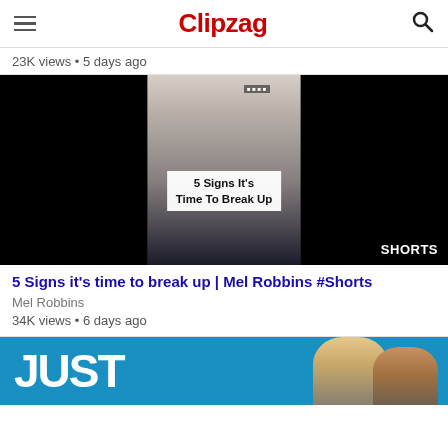Clipzag
23K views • 5 days ago
[Figure (screenshot): Video thumbnail showing a woman with blonde hair and glasses, text overlay '5 Signs It's Time To Break Up', SHORTS badge bottom right]
5 Signs it's time to break up | Mel Robbins #Shorts
Mel Robbins
34K views • 6 days ago
[Figure (screenshot): Video thumbnail with blue background showing 'JUST' text and two people]